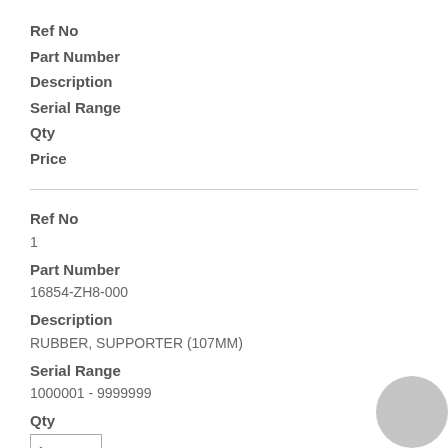Ref No
Part Number
Description
Serial Range
Qty
Price
| Ref No | Part Number | Description | Serial Range | Qty | Price |
| --- | --- | --- | --- | --- | --- |
| 1 | 16854-ZH8-000 | RUBBER, SUPPORTER (107MM) | 1000001 - 9999999 | 1 | $3.98 |